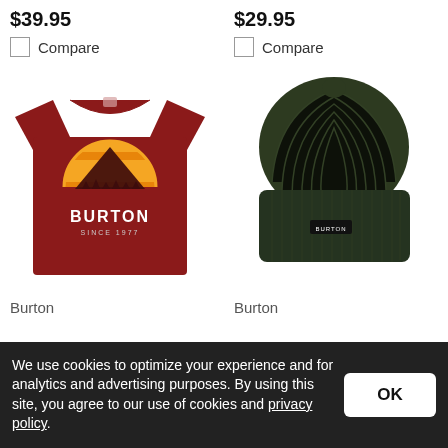$39.95
$29.95
Compare
Compare
[Figure (photo): Burton red t-shirt with mountain sunset graphic and BURTON SINCE 1977 text]
[Figure (photo): Burton dark olive/green knit beanie with small Burton label]
Burton
Burton
We use cookies to optimize your experience and for analytics and advertising purposes. By using this site, you agree to our use of cookies and privacy policy.